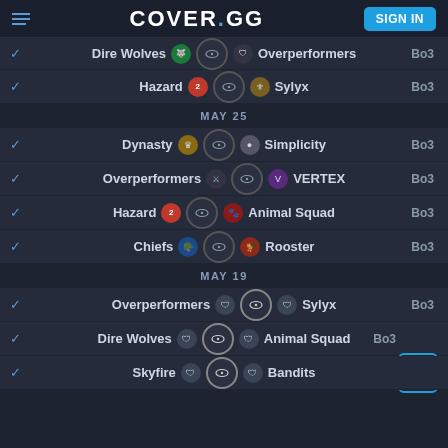COVER.GG — SIGN IN
✓ Dire Wolves vs Overperformers — Bo3
✓ Hazard vs Sylyx — Bo3
MAY 25
✓ Dynasty vs Simplicity — Bo3
✓ Overperformers vs VERTEX — Bo3
✓ Hazard vs Animal Squad — Bo3
✓ Chiefs vs Rooster — Bo3
MAY 19
✓ Overperformers vs Sylyx — Bo3
✓ Dire Wolves vs Animal Squad — Bo3
✓ Skyfire vs Bandits